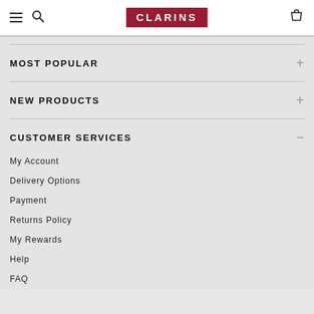[Figure (logo): Clarins brand logo — white text on dark red/burgundy background]
MOST POPULAR
NEW PRODUCTS
CUSTOMER SERVICES
My Account
Delivery Options
Payment
Returns Policy
My Rewards
Help
FAQ